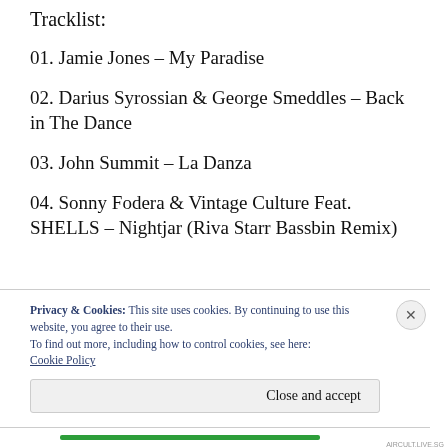Tracklist:
01. Jamie Jones – My Paradise
02. Darius Syrossian & George Smeddles – Back in The Dance
03. John Summit – La Danza
04. Sonny Fodera & Vintage Culture Feat. SHELLS – Nightjar (Riva Starr Bassbin Remix)
Privacy & Cookies: This site uses cookies. By continuing to use this website, you agree to their use.
To find out more, including how to control cookies, see here: Cookie Policy
Close and accept